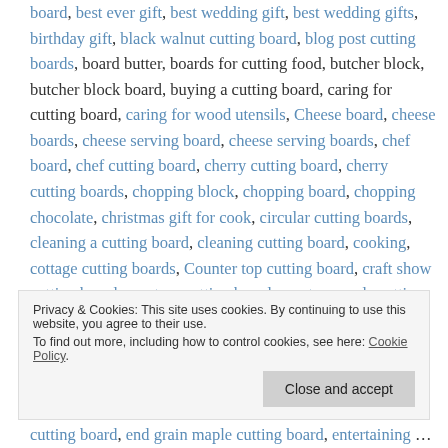board, best ever gift, best wedding gift, best wedding gifts, birthday gift, black walnut cutting board, blog post cutting boards, board butter, boards for cutting food, butcher block, butcher block board, buying a cutting board, caring for cutting board, caring for wood utensils, Cheese board, cheese boards, cheese serving board, cheese serving boards, chef board, chef cutting board, cherry cutting board, cherry cutting boards, chopping block, chopping board, chopping chocolate, christmas gift for cook, circular cutting boards, cleaning a cutting board, cleaning cutting board, cooking, cottage cutting boards, Counter top cutting board, craft show cutting boards, custom cutting boards, custom made cutting boards, Cutting board, cutting board basket, cutting board blogs, cutting board care, cutting board conditioner, cutting board designs, cutting board finish, Cutting board for
Privacy & Cookies: This site uses cookies. By continuing to use this website, you agree to their use. To find out more, including how to control cookies, see here: Cookie Policy
cutting board, end grain maple cutting board, entertaining cutting